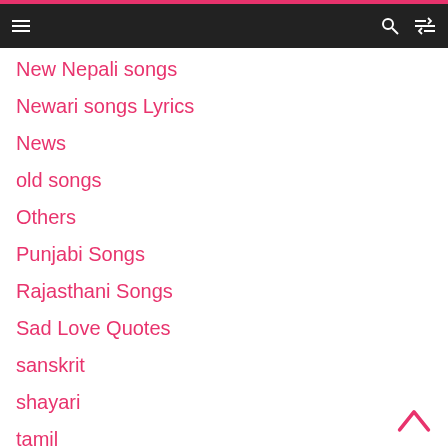Navigation menu bar
New Nepali songs
Newari songs Lyrics
News
old songs
Others
Punjabi Songs
Rajasthani Songs
Sad Love Quotes
sanskrit
shayari
tamil
Teej songs
Telugu song